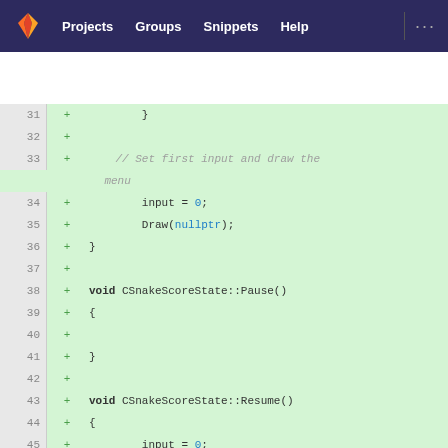GitLab nav: Projects | Groups | Snippets | Help
[Figure (screenshot): GitLab code diff view showing C++ source code additions for CSnakeScoreState class methods including Pause, Resume, and Cleanup, with line numbers 31-49 on a light green background indicating added lines.]